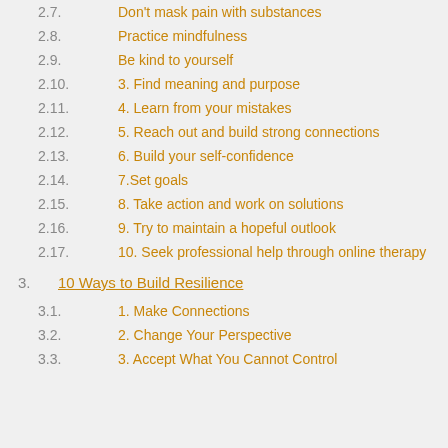2.7.  Don't mask pain with substances
2.8.  Practice mindfulness
2.9.  Be kind to yourself
2.10.  3. Find meaning and purpose
2.11.  4. Learn from your mistakes
2.12.  5. Reach out and build strong connections
2.13.  6. Build your self-confidence
2.14.  7.Set goals
2.15.  8. Take action and work on solutions
2.16.  9. Try  to maintain a hopeful outlook
2.17.  10. Seek professional help through online therapy
3.  10 Ways to Build Resilience
3.1.  1. Make Connections
3.2.  2. Change Your Perspective
3.3.  3. Accept What You Cannot Control